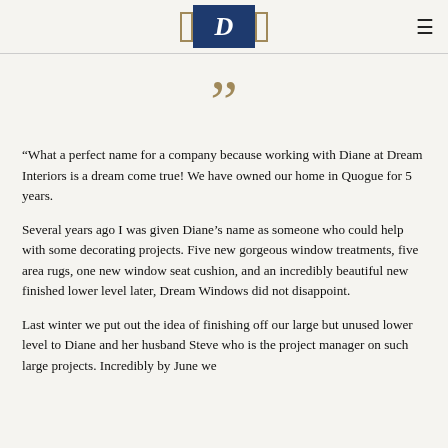Dream Interiors logo and navigation
[Figure (illustration): Large decorative closing quotation marks in tan/gold color centered on the page]
“What a perfect name for a company because working with Diane at Dream Interiors is a dream come true! We have owned our home in Quogue for 5 years.

Several years ago I was given Diane’s name as someone who could help with some decorating projects. Five new gorgeous window treatments, five area rugs, one new window seat cushion, and an incredibly beautiful new finished lower level later, Dream Windows did not disappoint.

Last winter we put out the idea of finishing off our large but unused lower level to Diane and her husband Steve who is the project manager on such large projects. Incredibly by June we